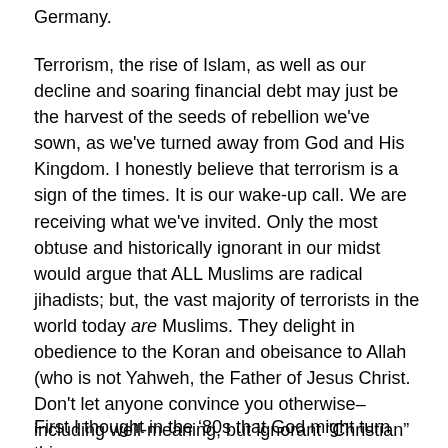Germany.
Terrorism, the rise of Islam, as well as our decline and soaring financial debt may just be the harvest of the seeds of rebellion we've sown, as we've turned away from God and His Kingdom. I honestly believe that terrorism is a sign of the times. It is our wake-up call. We are receiving what we've invited. Only the most obtuse and historically ignorant in our midst would argue that ALL Muslims are radical jihadists; but, the vast majority of terrorists in the world today are Muslims. They delight in obedience to the Koran and obeisance to Allah (who is not Yahweh, the Father of Jesus Christ. Don't let anyone convince you otherwise–including well-meaning, but ignorant “Christian” leaders).
First I thought in the ‘80s that God might turn things